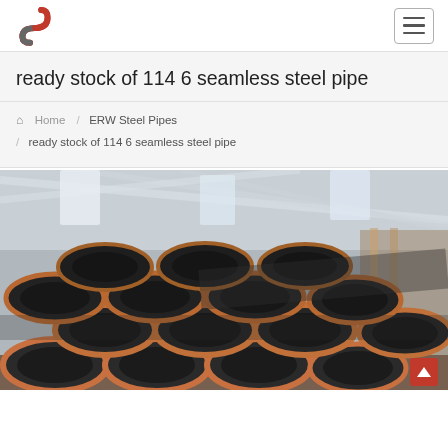Navigation bar with logo and hamburger menu
ready stock of 114 6 seamless steel pipe
Home / ERW Steel Pipes / ready stock of 114 6 seamless steel pipe
[Figure (photo): Stack of large diameter black seamless steel pipes with orange-painted ends, stored inside an industrial warehouse with steel roof structure visible in background]